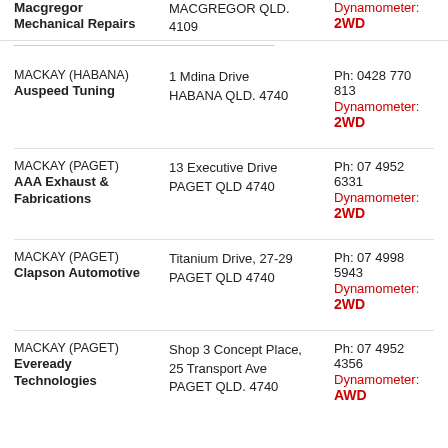| Location / Business | Address | Contact / Dynamometer |
| --- | --- | --- |
| Macgregor
Mechanical Repairs | MACGREGOR QLD.
4109 | Dynamometer:
2WD |
| MACKAY (HABANA)
Auspeed Tuning | 1 Mdina Drive
HABANA QLD. 4740 | Ph: 0428 770 813
Dynamometer:
2WD |
| MACKAY (PAGET)
AAA Exhaust & Fabrications | 13 Executive Drive
PAGET QLD 4740 | Ph: 07 4952 6331
Dynamometer:
2WD |
| MACKAY (PAGET)
Clapson Automotive | Titanium Drive, 27-29
PAGET QLD 4740 | Ph: 07 4998 5943
Dynamometer:
2WD |
| MACKAY (PAGET)
Eveready Technologies | Shop 3 Concept Place,
25 Transport Ave
PAGET QLD. 4740 | Ph: 07 4952 4356
Dynamometer:
AWD |